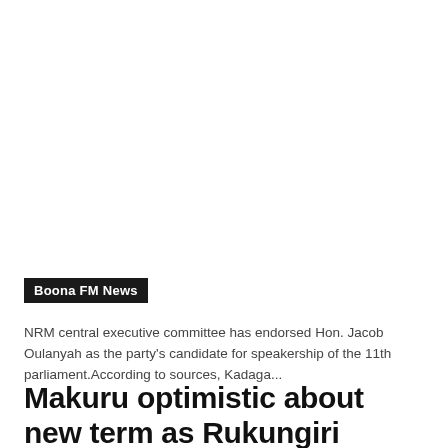Boona FM News
NRM central executive committee has endorsed Hon. Jacob Oulanyah as the party's candidate for speakership of the 11th parliament.According to sources, Kadaga...
Makuru optimistic about new term as Rukungiri Municipal mayor.
91.8 Boona Fm  -  May 19, 2021